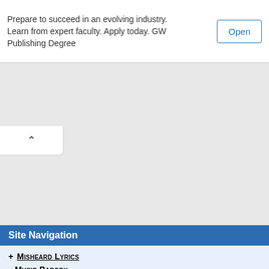Prepare to succeed in an evolving industry. Learn from expert faculty. Apply today. GW Publishing Degree
Site Navigation
+ Misheard Lyrics
- Music Parody
Latest Parody Lyrics
Album Covers
Authors
Author Contacts
Index By Performer
Index By Decade
Fragments
Latest Comments